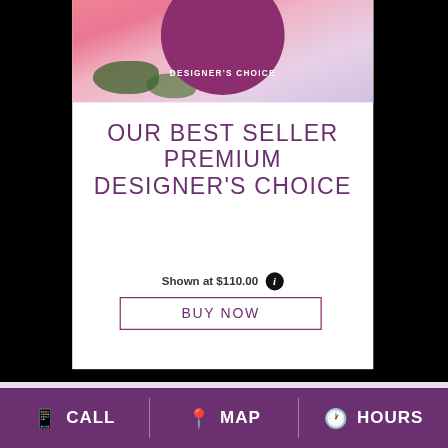[Figure (photo): Floral arrangement photo with pink flowers and a dark magenta/purple circular badge overlay reading DESIGNER'S CHOICE]
OUR BEST SELLER PREMIUM DESIGNER'S CHOICE
Shown at $110.00
BUY NOW
CALL  MAP  HOURS